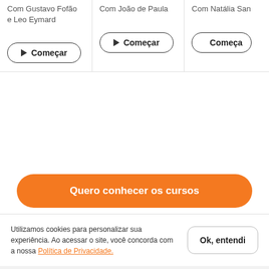Com Gustavo Fofão e Leo Eymard
Com João de Paula
Com Natália San
Começar
Começar
Começar
Quero conhecer os cursos
Utilizamos cookies para personalizar sua experiência. Ao acessar o site, você concorda com a nossa Política de Privacidade.
Ok, entendi